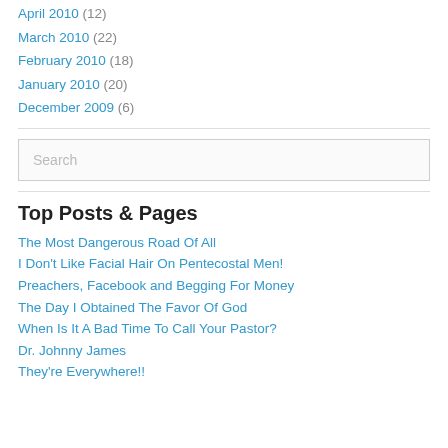April 2010 (12)
March 2010 (22)
February 2010 (18)
January 2010 (20)
December 2009 (6)
Top Posts & Pages
The Most Dangerous Road Of All
I Don't Like Facial Hair On Pentecostal Men!
Preachers, Facebook and Begging For Money
The Day I Obtained The Favor Of God
When Is It A Bad Time To Call Your Pastor?
Dr. Johnny James
They're Everywhere!!